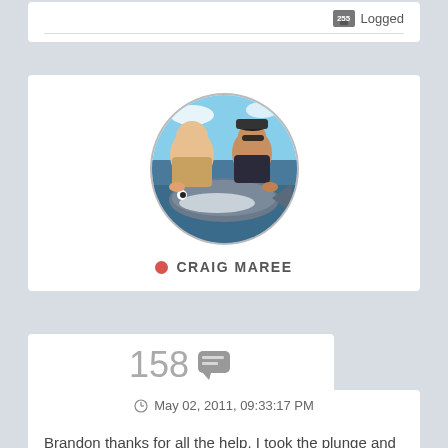Logged
[Figure (photo): Profile photo of Craig Maree, an oval-shaped image showing two people holding a large tuna fish on a boat, with blue sky in the background.]
CRAIG MAREE
158
May 02, 2011, 09:33:17 PM
Brandon thanks for all the help.  I took the plunge and upgraded to premium rods.

I received my Smith rods (WRC Rocket, WRC 80P, AMI